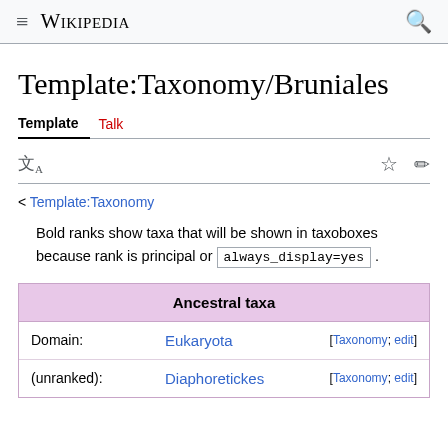Wikipedia
Template:Taxonomy/Bruniales
Template  Talk
< Template:Taxonomy
Bold ranks show taxa that will be shown in taxoboxes because rank is principal or always_display=yes.
| Ancestral taxa |
| --- |
| Domain: | Eukaryota | [Taxonomy; edit] |
| (unranked): | Diaphoretickes | [Taxonomy; edit] |